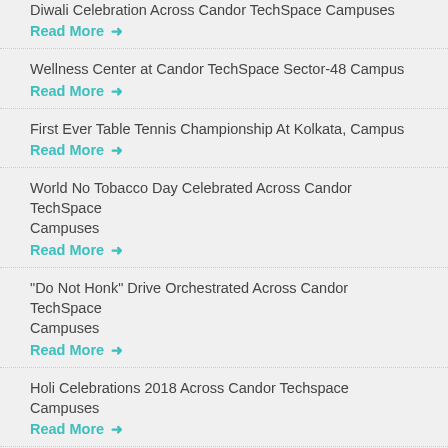Diwali Celebration Across Candor TechSpace Campuses
Read More →
Wellness Center at Candor TechSpace Sector-48 Campus
Read More →
First Ever Table Tennis Championship At Kolkata, Campus
Read More →
World No Tobacco Day Celebrated Across Candor TechSpace Campuses
Read More →
“Do Not Honk” Drive Orchestrated Across Candor TechSpace Campuses
Read More →
Holi Celebrations 2018 Across Candor Techspace Campuses
Read More →
Christmas Celebrations 2017 Across Candor Techspace Campuses
Read More →
Recent Events (partial)